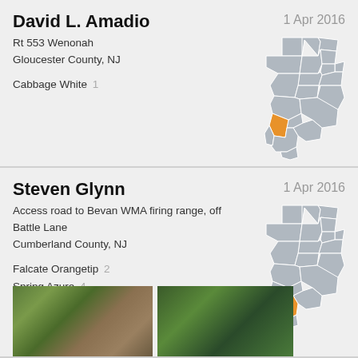David L. Amadio
1 Apr 2016
Rt 553 Wenonah
Gloucester County, NJ
Cabbage White  1
[Figure (map): Map of New Jersey with Gloucester County highlighted in orange]
Steven Glynn
1 Apr 2016
Access road to Bevan WMA firing range, off Battle Lane
Cumberland County, NJ
Falcate Orangetip  2
Spring Azure  4
Juvenal's Duskywing  1
[Figure (map): Map of New Jersey with Cumberland County highlighted in orange]
[Figure (photo): Photo of a white butterfly on ground vegetation]
[Figure (photo): Photo of vegetation/plants on ground]